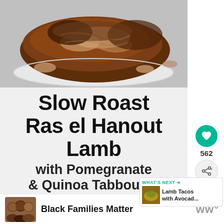[Figure (photo): Slow roast lamb on a white plate, shredded and browned, viewed from above]
Slow Roast Ras el Hanout Lamb with Pomegranate & Quinoa Tabbouleh
[Figure (infographic): Heart/like button showing 562 saves, and a share button]
[Figure (infographic): What's Next box: Lamb Tacos with Avocad...]
[Figure (photo): Ad banner: Black Families Matter with photo of smiling children]